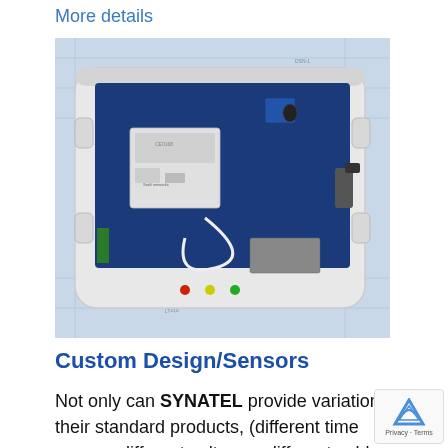More details
[Figure (photo): Open electronic device enclosure showing a blue PCB circuit board with wireless module, antenna connector, LED indicators, inside a white plastic housing, placed on top of engineering/schematic drawings]
Custom Design/Sensors
Not only can SYNATEL provide variations of their standard products, (different time ranges, different voltages, different cable